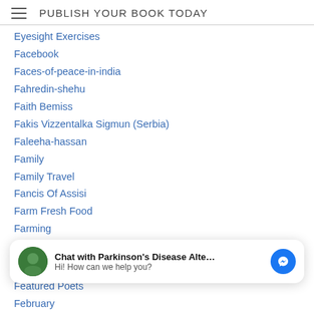PUBLISH YOUR BOOK TODAY
Eyesight Exercises
Facebook
Faces-of-peace-in-india
Fahredin-shehu
Faith Bemiss
Fakis Vizzentalka Sigmun (Serbia)
Faleeha-hassan
Family
Family Travel
Fancis Of Assisi
Farm Fresh Food
Farming
Farsi-iran
Fasciology
[Figure (infographic): Chat widget: circular avatar with green background, text 'Chat with Parkinson's Disease Alte...' and 'Hi! How can we help you?', blue Messenger icon on right]
Featured Poets
February